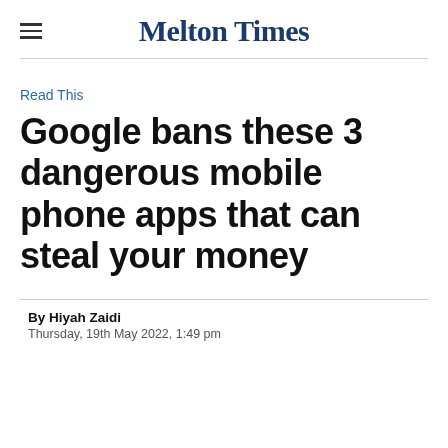Melton Times
Read This
Google bans these 3 dangerous mobile phone apps that can steal your money
By Hiyah Zaidi
Thursday, 19th May 2022, 1:49 pm